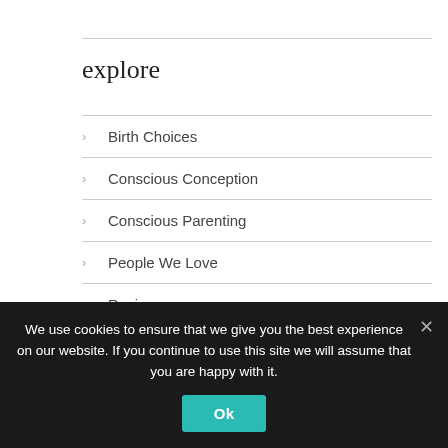explore
Birth Choices
Conscious Conception
Conscious Parenting
People We Love
Reviews
Sacred Pregnancy
Sacred Relationship
We use cookies to ensure that we give you the best experience on our website. If you continue to use this site we will assume that you are happy with it.
Ok